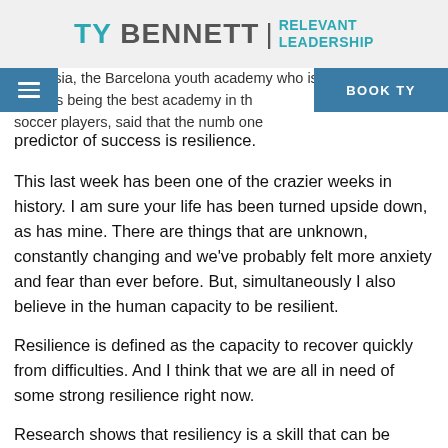[Figure (logo): Ty Bennett | Relevant Leadership logo with teal and gray text]
La Masia, the Barcelona youth academy who is consistently recognized as being the best academy in the world champion soccer players, said that the number one predictor of success is resilience.
This last week has been one of the crazier weeks in history. I am sure your life has been turned upside down, as has mine. There are things that are unknown, constantly changing and we've probably felt more anxiety and fear than ever before. But, simultaneously I also believe in the human capacity to be resilient.
Resilience is defined as the capacity to recover quickly from difficulties. And I think that we are all in need of some strong resilience right now.
Research shows that resiliency is a skill that can be developed and there are some common characteristics that